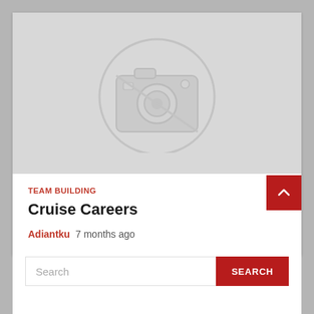[Figure (photo): Blurred placeholder camera icon image representing a missing or loading photo for the Cruise Careers article]
TEAM BUILDING
Cruise Careers
Adiantku  7 months ago